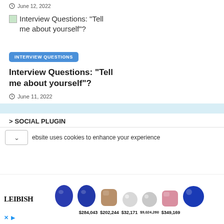June 12, 2022
Interview Questions: “Tell me about yourself”?
INTERVIEW QUESTIONS
Interview Questions: “Tell me about yourself”?
June 11, 2022
> SOCIAL PLUGIN
ebsite uses cookies to enhance your experience
[Figure (other): LEIBISH gem advertisement showing blue sapphire ovals, brown cushion, white round diamonds, pink cushion, and blue round gem with prices $284,043 $202,244 $32,171 $9,024,260 $349,169]